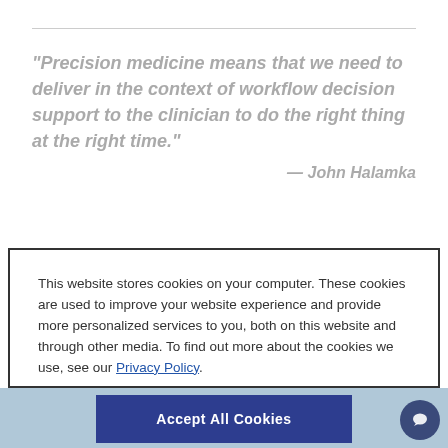"Precision medicine means that we need to deliver in the context of workflow decision support to the clinician to do the right thing at the right time."
— John Halamka
This website stores cookies on your computer. These cookies are used to improve your website experience and provide more personalized services to you, both on this website and through other media. To find out more about the cookies we use, see our Privacy Policy.
Accept All Cookies